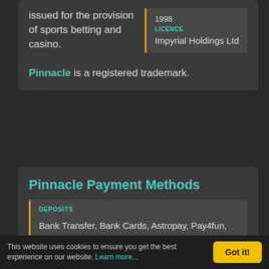issued for the provision of sports betting and casino.
LICENCE
Impyrial Holdings Ltd
Pinnacle is a registered trademark.
Pinnacle Payment Methods
DEPOSITS
Bank Transfer, Bank Cards, Astropay, Pay4fun, MuchBetter, Bitcoin, EcoPayz, Neteller,
This website uses cookies to ensure you get the best experience on our website. Learn more...